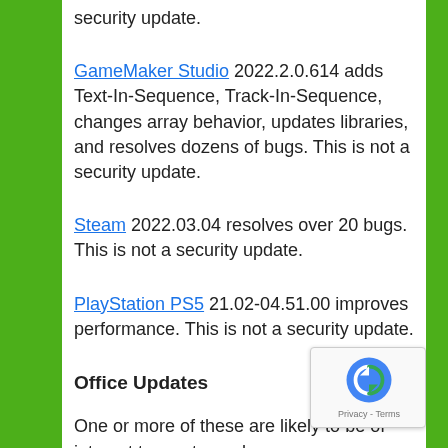security update.
GameMaker Studio 2022.2.0.614 adds Text-In-Sequence, Track-In-Sequence, changes array behavior, updates libraries, and resolves dozens of bugs. This is not a security update.
Steam 2022.03.04 resolves over 20 bugs. This is not a security update.
PlayStation PS5 21.02-04.51.00 improves performance. This is not a security update.
Office Updates
One or more of these are likely to be of interest to most people.
Atom 1.60.0 improves usability and resolves dozens of bugs. This is not a security update.
IcoFX 3.7 resolves several bugs and improves